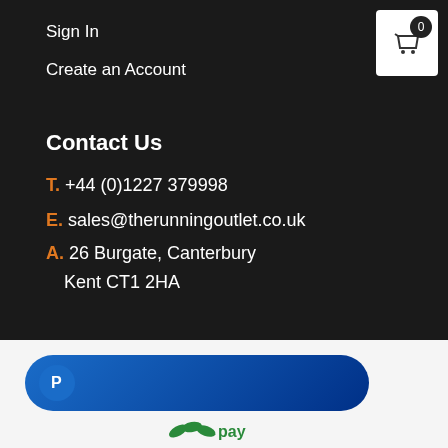Sign In
Create an Account
[Figure (other): Shopping cart icon in white box with badge showing 0]
Contact Us
T. +44 (0)1227 379998
E. sales@therunningoutlet.co.uk
A. 26 Burgate, Canterbury
Kent CT1 2HA
[Figure (logo): PayPal button with blue gradient rounded rectangle and white P logo]
[Figure (logo): Sage Pay logo in green and dark text]